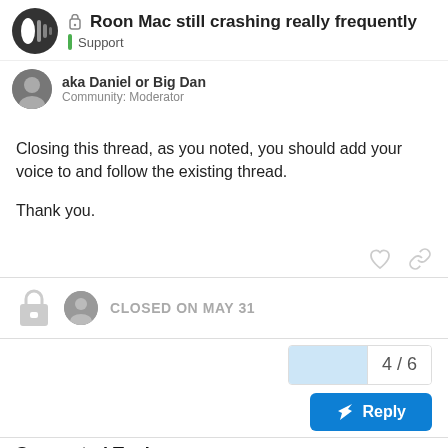Roon Mac still crashing really frequently — Support
aka Daniel or Big Dan
Community: Moderator
Closing this thread, as you noted, you should add your voice to and follow the existing thread.

Thank you.
CLOSED ON MAY 31
4 / 6
Reply
Suggested Topics
TIDAL just spins and returns a network error